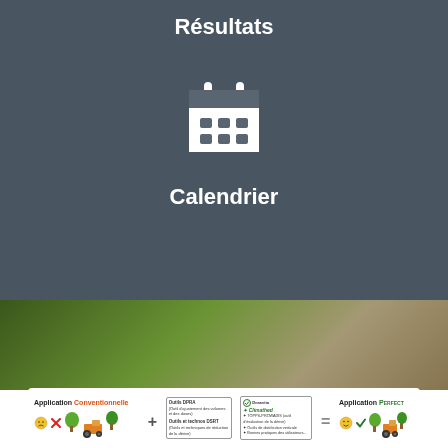Résultats
[Figure (illustration): White calendar icon on dark grey background]
Calendrier
[Figure (photo): Close-up photo of hands holding a plant/seed in a field]
[Figure (infographic): Infographic showing Application Conventionnelle + tools = Application PERFECT with tractor and tree illustrations]